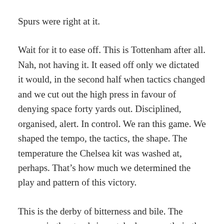Spurs were right at it.
Wait for it to ease off. This is Tottenham after all. Nah, not having it. It eased off only we dictated it would, in the second half when tactics changed and we cut out the high press in favour of denying space forty yards out. Disciplined, organised, alert. In control. We ran this game. We shaped the tempo, the tactics, the shape. The temperature the Chelsea kit was washed at, perhaps. That’s how much we determined the play and pattern of this victory.
This is the derby of bitterness and bile. The venom in the stands is matched apparently in the respective boardrooms. Spurs went about the act of revenging last season’s away draw with remarkable calm, their sense of